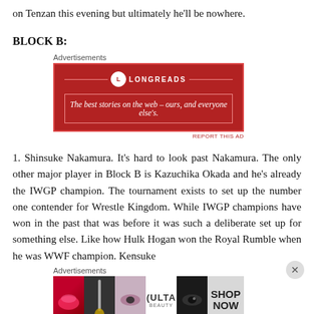on Tenzan this evening but ultimately he’ll be nowhere.
BLOCK B:
[Figure (other): Longreads advertisement banner: red background with white border, Longreads logo and tagline 'The best stories on the web – ours, and everyone else’s.']
1. Shinsuke Nakamura. It’s hard to look past Nakamura. The only other major player in Block B is Kazuchika Okada and he’s already the IWGP champion. The tournament exists to set up the number one contender for Wrestle Kingdom. While IWGP champions have won in the past that was before it was such a deliberate set up for something else. Like how Hulk Hogan won the Royal Rumble when he was WWF champion. Kensuke
[Figure (other): ULTA Beauty advertisement banner with cosmetics imagery including lips, makeup brush, eyes, ULTA logo, and 'SHOP NOW' call to action.]